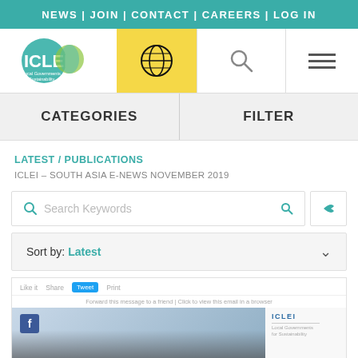NEWS | JOIN | CONTACT | CAREERS | LOG IN
[Figure (logo): ICLEI Local Governments for Sustainability logo]
[Figure (illustration): Globe icon on yellow background]
[Figure (illustration): Search magnifying glass icon]
[Figure (illustration): Hamburger menu icon (three horizontal lines)]
CATEGORIES
FILTER
LATEST / PUBLICATIONS
ICLEI – SOUTH ASIA E-NEWS NOVEMBER 2019
Search Keywords
Sort by: Latest
[Figure (screenshot): Preview of ICLEI South Asia E-News November 2019 email newsletter showing Like it, Share, Tweet, Print actions and a forward message link, with ICLEI logo and a photo of people in the background]